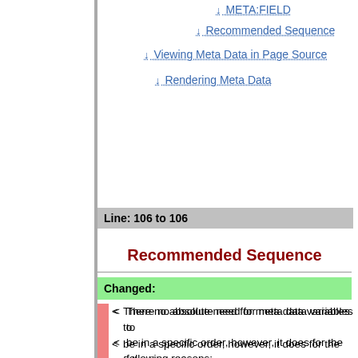↓ META:FIELD
↓ Recommended Sequence
↓ Viewing Meta Data in Page Source
↓ Rendering Meta Data
Line: 106 to 106
Recommended Sequence
Changed:
< There no absolute need for meta data variables to
< be in a specific order, however, it does for the following reasons:
Keep (form) fields in the order they are defined
Allow diff command to give output in a logically sensible order
These could be done in other ways, but this adds complexity
Order fields - definition could be read on each rendering (expensive)